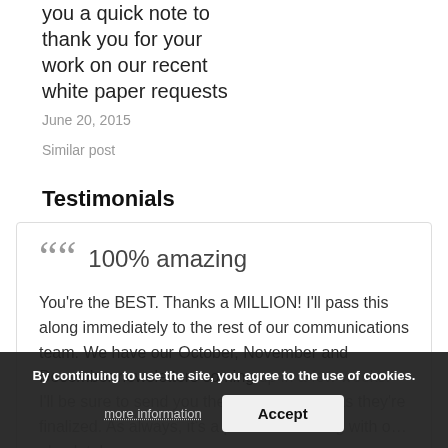you a quick note to thank you for your work on our recent white paper requests
June 20, 2015
Similar post
Testimonials
100% amazing
You're the BEST. Thanks a MILLION! I'll pass this along immediately to the rest of our communications team. We have our October, November and December newsletters coming up in a few weeks. I'll be sure to send you the topics as soon as they're finalized. As always, it's a pleasure working with ou…absolutely….
Read more
By continuing to use the site, you agree to the use of cookies. more information Accept